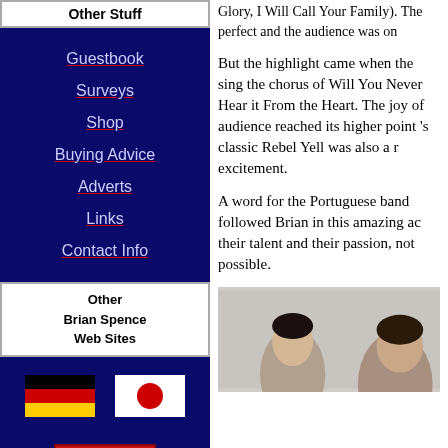Other Stuff
Guestbook
Surveys
Shop
Buying Advice
Adverts
Links
Contact Info
Other Brian Spence Web Sites
[Figure (illustration): German flag (black, red, gold horizontal stripes)]
[Figure (illustration): Japanese flag (white background with red circle)]
[Figure (logo): Bilbo Music shield logo - red shield with gold BB letters]
Bilbo Music
Subscribe to Spence Music
Glory, I Will Call Your Family). The perfect and the audience was on
But the highlight came when the sing the chorus of Will You Never Hear it From the Heart. The joy of audience reached its higher point 's classic Rebel Yell was also a r excitement.
A word for the Portuguese band followed Brian in this amazing ac their talent and their passion, not possible.
[Figure (photo): Partial photo showing people, cropped at right edge]